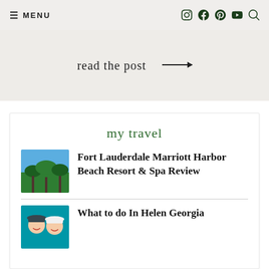☰ MENU
read the post →
my travel
[Figure (photo): Palm trees against blue sky — tropical resort scene]
Fort Lauderdale Marriott Harbor Beach Resort & Spa Review
[Figure (photo): Couple wearing hats on a boat, smiling at camera]
What to do In Helen Georgia